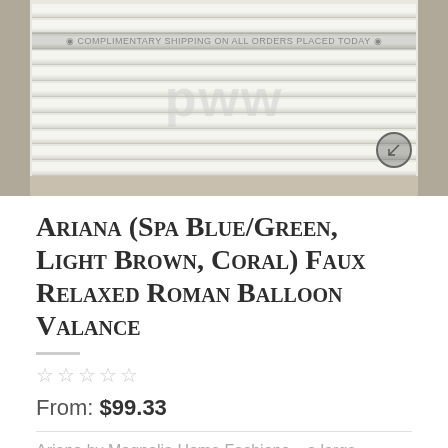[Figure (photo): Product photo of a white faux wood window blind/valance mounted in a gray wood-grain window frame, with a watermark overlay and an expand button in the bottom right corner.]
Ariana (Spa Blue/Green, Light Brown, Coral) Faux Relaxed Roman Balloon Valance
☆☆☆☆☆
From: $99.33
Ariana by Magnolia Home Fashions – a large